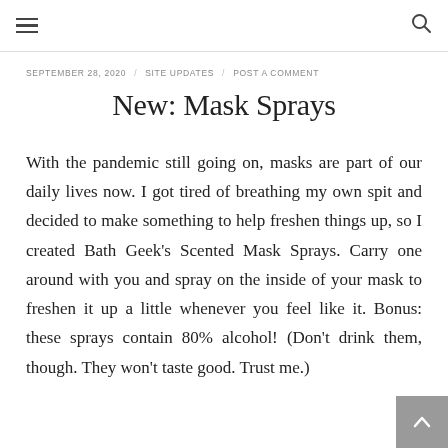≡  🔍
SEPTEMBER 28, 2020  /  SITE UPDATES  /  POST A COMMENT
New: Mask Sprays
With the pandemic still going on, masks are part of our daily lives now. I got tired of breathing my own spit and decided to make something to help freshen things up, so I created Bath Geek's Scented Mask Sprays. Carry one around with you and spray on the inside of your mask to freshen it up a little whenever you feel like it. Bonus: these sprays contain 80% alcohol! (Don't drink them, though. They won't taste good. Trust me.)